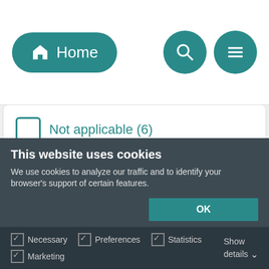[Figure (screenshot): Navigation bar with Home button (teal pill shape with house icon), and two teal circular icon buttons (search and hamburger menu) on the right]
Not applicable (6)
Voluntary (100)
Fuel Types
Biomass (0)
This website uses cookies
We use cookies to analyze our traffic and to identify your browser's support of certain features.
OK
Necessary  Preferences  Statistics  Marketing  Show details